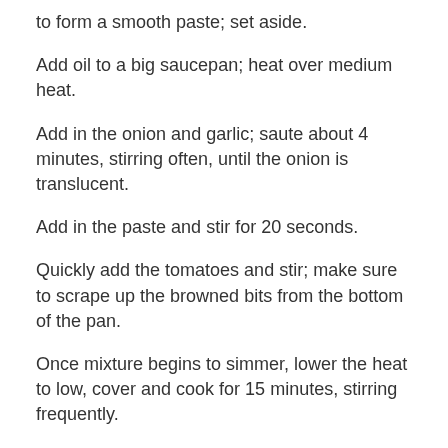to form a smooth paste; set aside.
Add oil to a big saucepan; heat over medium heat.
Add in the onion and garlic; saute about 4 minutes, stirring often, until the onion is translucent.
Add in the paste and stir for 20 seconds.
Quickly add the tomatoes and stir; make sure to scrape up the browned bits from the bottom of the pan.
Once mixture begins to simmer, lower the heat to low, cover and cook for 15 minutes, stirring frequently.
Add in the shrimp, stir to coat.